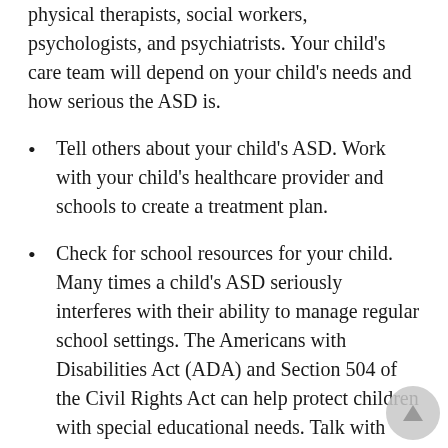physical therapists, social workers, psychologists, and psychiatrists. Your child's care team will depend on your child's needs and how serious the ASD is.
Tell others about your child's ASD. Work with your child's healthcare provider and schools to create a treatment plan.
Check for school resources for your child. Many times a child's ASD seriously interferes with their ability to manage regular school settings. The Americans with Disabilities Act (ADA) and Section 504 of the Civil Rights Act can help protect children with special educational needs. Talk with your child's teacher or school principal for more information.
Have your child wear a medical alert bracelet or necklace if they have a hard to manage condition.